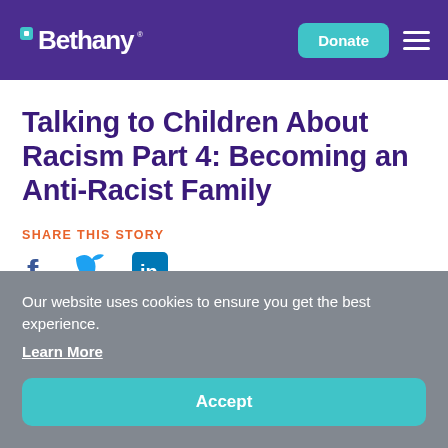Bethany — Donate
Talking to Children About Racism Part 4: Becoming an Anti-Racist Family
SHARE THIS STORY
[Figure (infographic): Social media share icons: Facebook (f), Twitter (bird), LinkedIn (in)]
Our website uses cookies to ensure you get the best experience. Learn More
Accept